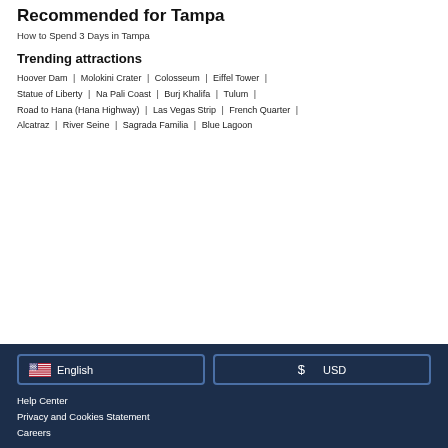Recommended for Tampa
How to Spend 3 Days in Tampa
Trending attractions
Hoover Dam | Molokini Crater | Colosseum | Eiffel Tower | Statue of Liberty | Na Pali Coast | Burj Khalifa | Tulum | Road to Hana (Hana Highway) | Las Vegas Strip | French Quarter | Alcatraz | River Seine | Sagrada Familia | Blue Lagoon
English (US flag button)
$ USD
Help Center
Privacy and Cookies Statement
Careers